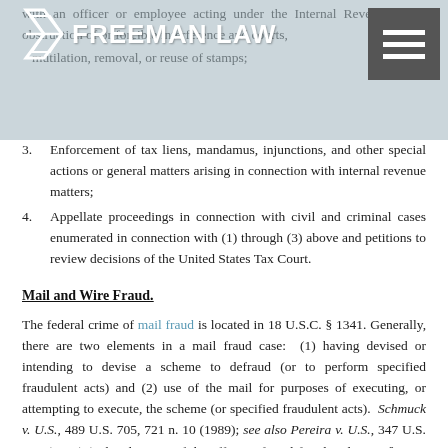Freeman Law logo and navigation header
with an officer or employee acting under the Internal Revenue laws, obstruction of or forcible interference and courts, mutilation, removal, or reuse of stamps;
3. Enforcement of tax liens, mandamus, injunctions, and other special actions or general matters arising in connection with internal revenue matters;
4. Appellate proceedings in connection with civil and criminal cases enumerated in connection with (1) through (3) above and petitions to review decisions of the United States Tax Court.
Mail and Wire Fraud.
The federal crime of mail fraud is located in 18 U.S.C. § 1341. Generally, there are two elements in a mail fraud case: (1) having devised or intending to devise a scheme to defraud (or to perform specified fraudulent acts) and (2) use of the mail for purposes of executing, or attempting to execute, the scheme (or specified fraudulent acts). Schmuck v. U.S., 489 U.S. 705, 721 n. 10 (1989); see also Pereira v. U.S., 347 U.S. 1, 8 (1954) (“The elements of the offense of mail fraud under . . . § 1341 are (1) a scheme to defraud, and (2) the mailing of a letter, etc., for the purpose of executing the